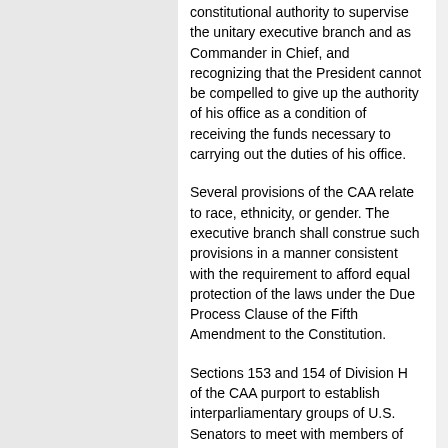constitutional authority to supervise the unitary executive branch and as Commander in Chief, and recognizing that the President cannot be compelled to give up the authority of his office as a condition of receiving the funds necessary to carrying out the duties of his office.
Several provisions of the CAA relate to race, ethnicity, or gender. The executive branch shall construe such provisions in a manner consistent with the requirement to afford equal protection of the laws under the Due Process Clause of the Fifth Amendment to the Constitution.
Sections 153 and 154 of Division H of the CAA purport to establish interparliamentary groups of U.S. Senators to meet with members of the